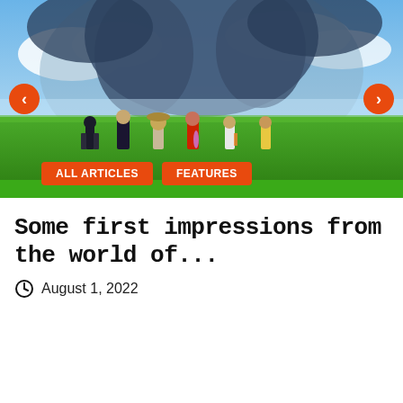[Figure (illustration): Screenshot from a JRPG game showing six anime-style characters standing in a grassy field viewed from behind, with a massive creature/titan in the background against a blue sky with clouds. Navigation arrows on left and right sides, orange tag buttons labeled ALL ARTICLES and FEATURES overlaid at the bottom.]
Some first impressions from the world of...
August 1, 2022